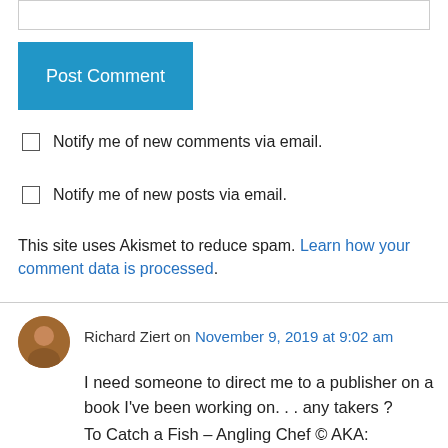[input field]
Post Comment
Notify me of new comments via email.
Notify me of new posts via email.
This site uses Akismet to reduce spam. Learn how your comment data is processed.
Richard Ziert on November 9, 2019 at 9:02 am
I need someone to direct me to a publisher on a book I've been working on. . . any takers ?
To Catch a Fish – Angling Chef © AKA: IN"Fin"IT Honey Hole